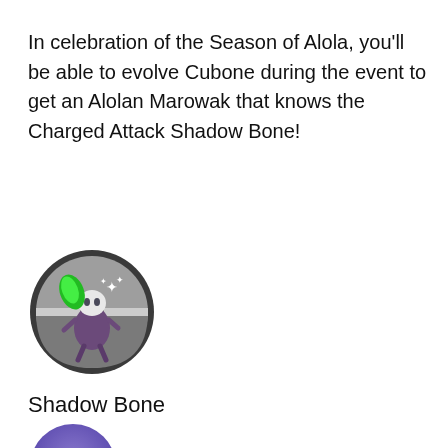In celebration of the Season of Alola, you'll be able to evolve Cubone during the event to get an Alolan Marowak that knows the Charged Attack Shadow Bone!
[Figure (illustration): Alolan Marowak Pokemon icon inside a circular Pokeball-style badge with gray background and dark border, with sparkle stars]
Shadow Bone
[Figure (illustration): Ghost-type move icon: purple/blue circle with a white ghost face silhouette]
Trainer Battles: 75 power
Gyms and raids: 80 power
[Figure (illustration): Partial bottom icon with spiky outline, partially visible at page bottom]